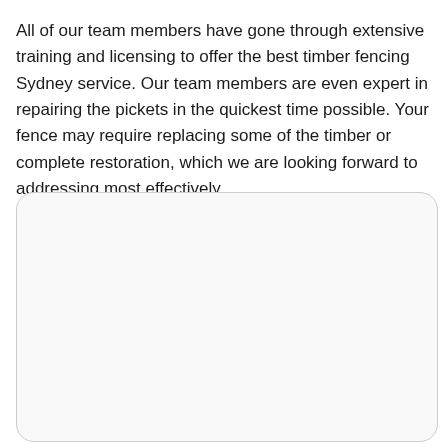All of our team members have gone through extensive training and licensing to offer the best timber fencing Sydney service. Our team members are even expert in repairing the pickets in the quickest time possible. Your fence may require replacing some of the timber or complete restoration, which we are looking forward to addressing most effectively.
[Figure (other): A large rounded rectangle box with a light gray border and off-white background, empty content area.]